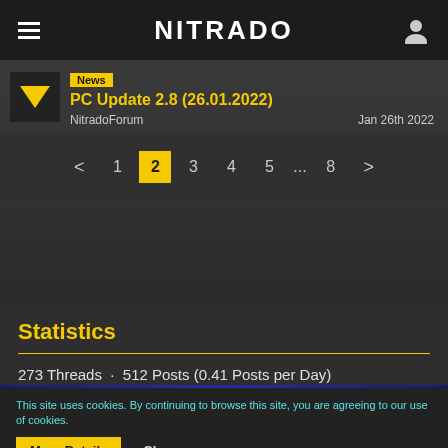NITRADO
News
PC Update 2.8 (26.01.2022)
NitradoForum   Jan 26th 2022
< 1 2 3 4 5 ... 8 >
Statistics
273 Threads · 512 Posts (0.41 Posts per Day)
This site uses cookies. By continuing to browse this site, you are agreeing to our use of cookies.
More Details   Close